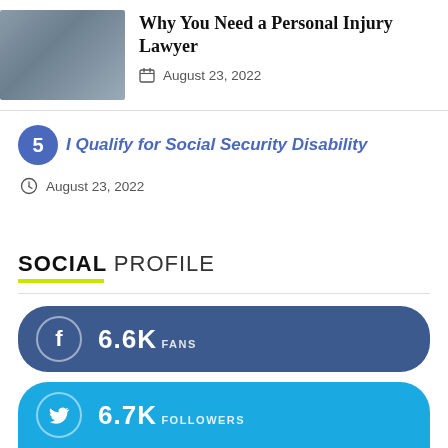[Figure (photo): Person sitting at a desk, photo thumbnail for article about personal injury lawyer]
Why You Need a Personal Injury Lawyer
August 23, 2022
5  I Qualify for Social Security Disability
August 23, 2022
SOCIAL PROFILE
6.6K FANS
6.7K FOLLOWERS